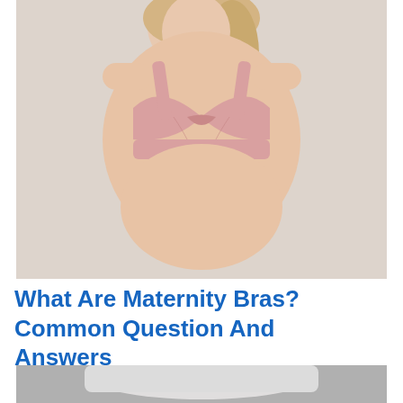[Figure (photo): A blonde woman wearing a pink maternity/nursing bra, photographed from shoulders to waist against a light beige background.]
What Are Maternity Bras? Common Question And Answers
[Figure (photo): Partial view of a second image, showing what appears to be light-colored fabric on a grey textile surface.]